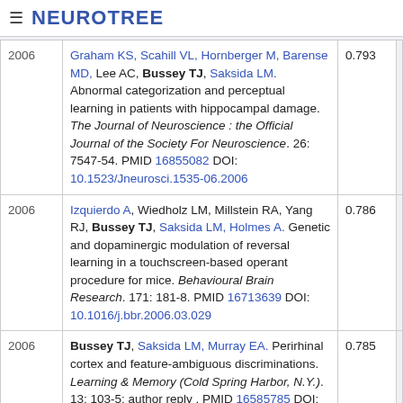NEUROTREE
| Year | Reference | Score |
| --- | --- | --- |
| 2006 | Graham KS, Scahill VL, Hornberger M, Barense MD, Lee AC, Bussey TJ, Saksida LM. Abnormal categorization and perceptual learning in patients with hippocampal damage. The Journal of Neuroscience : the Official Journal of the Society For Neuroscience. 26: 7547-54. PMID 16855082 DOI: 10.1523/Jneurosci.1535-06.2006 | 0.793 |
| 2006 | Izquierdo A, Wiedholz LM, Millstein RA, Yang RJ, Bussey TJ, Saksida LM, Holmes A. Genetic and dopaminergic modulation of reversal learning in a touchscreen-based operant procedure for mice. Behavioural Brain Research. 171: 181-8. PMID 16713639 DOI: 10.1016/j.bbr.2006.03.029 | 0.786 |
| 2006 | Bussey TJ, Saksida LM, Murray EA. Perirhinal cortex and feature-ambiguous discriminations. Learning & Memory (Cold Spring Harbor, N.Y.). 13: 103-5; author reply . PMID 16585785 DOI: 10.1101/lm.163606 | 0.785 |